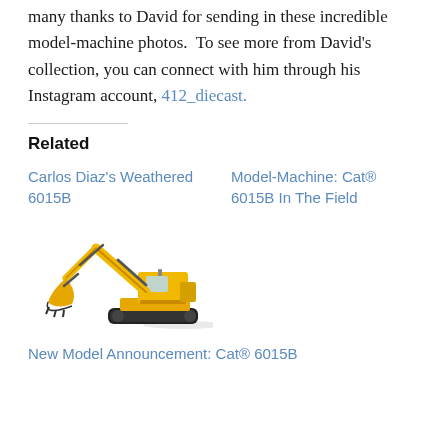many thanks to David for sending in these incredible model-machine photos. To see more from David's collection, you can connect with him through his Instagram account, 412_diecast.
Related
Carlos Diaz's Weathered 6015B
Model-Machine: Cat® 6015B In The Field
[Figure (photo): Yellow Cat 6015B excavator model-machine diecast toy, side view showing boom, arm, bucket, and tracks]
New Model Announcement: Cat® 6015B